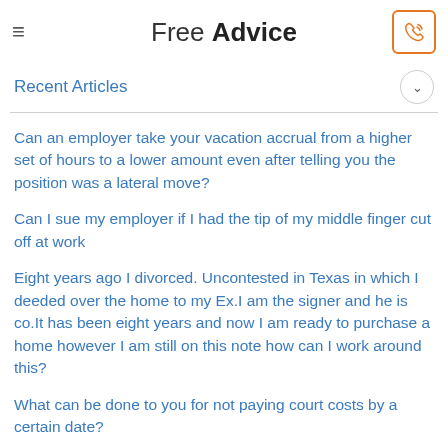Free Advice
Recent Articles
Can an employer take your vacation accrual from a higher set of hours to a lower amount even after telling you the position was a lateral move?
Can I sue my employer if I had the tip of my middle finger cut off at work
Eight years ago I divorced. Uncontested in Texas in which I deeded over the home to my Ex.I am the signer and he is co.It has been eight years and now I am ready to purchase a home however I am still on this note how can I work around this?
What can be done to you for not paying court costs by a certain date?
Can his kids force me to move out or evict me ?